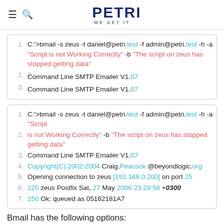PETRI — WE GET IT
1. C:'>bmail -s zeus -t daniel@petri.test -f admin@petri.test -h -a "Script is not Working Correctly" -b "The script on zeus has stopped getting data"
2. Command Line SMTP Emailer V1.07
3. Copyright(C) 2002-2004 Craig.Peacock@beyondlogic.org
4. Opening connection to zeus [192.168.0.200] on port 25
5. 220 zeus Postfix Sat, 27 May 2006 23:29:58 +0300
6. 250 Ok: queued as 05162181A7
Bmail has the following options:
1. C:'>bmail /?
2. Command Line SMTP Emailer V1.07
3. Copyright(C) 2002-2004 Craig.Peacock